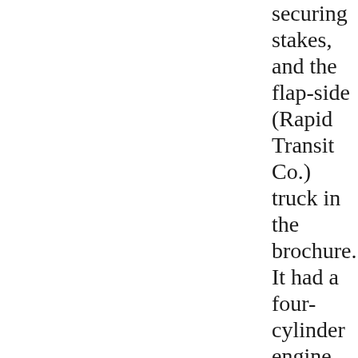securing stakes, and the flap-side (Rapid Transit Co.) truck in the brochure. It had a four-cylinder engine available in various bores, and